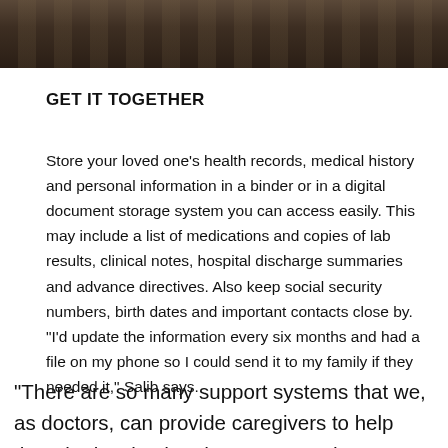[Figure (photo): Cropped photo of a person, partially visible, sitting in a patterned chair or couch — dark tones with fabric pattern visible]
GET IT TOGETHER
Store your loved one's health records, medical history and personal information in a binder or in a digital document storage system you can access easily. This may include a list of medications and copies of lab results, clinical notes, hospital discharge summaries and advance directives. Also keep social security numbers, birth dates and important contacts close by. “I’d update the information every six months and had a file on my phone so I could send it to my family if they needed it,” Salib says.
“There are so many support systems that we, as doctors, can provide caregivers to help them be involved and stay engaged,”